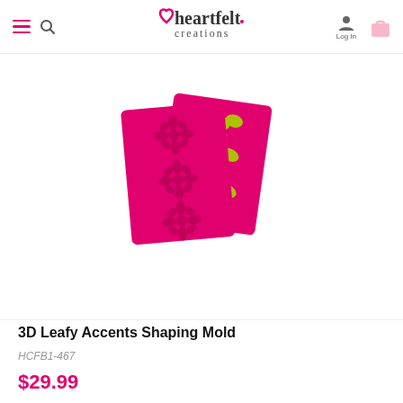heartfelt creations — Log In
[Figure (photo): Two hot-pink silicone shaping molds displaying leafy accent patterns; one shows embossed design, the other shows green painted leaves on the pink background.]
3D Leafy Accents Shaping Mold
HCFB1-467
$29.99